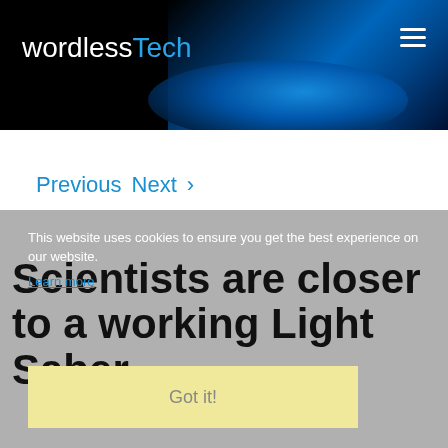wordlessTech
Previous  Next  >
This website uses cookies to ensure you get the best experience on our website.
Learn more
Scientists are closer to a working Light Saber
Got it!